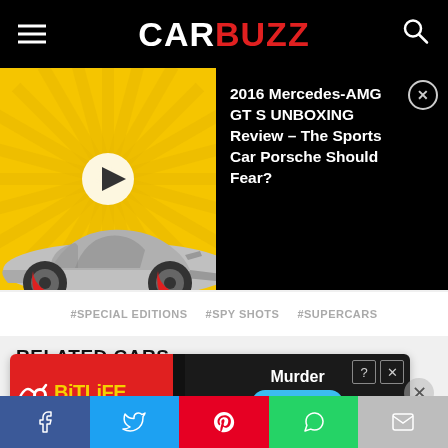CARBUZZ
[Figure (screenshot): Video thumbnail showing a silver Mercedes-AMG GT S sports car on a yellow sunburst background with a play button overlay]
2016 Mercedes-AMG GT S UNBOXING Review - The Sports Car Porsche Should Fear?
#SPECIAL EDITIONS
#SPY SHOTS
#SUPERCARS
RELATED CARS
[Figure (photo): Partial view of a silver/grey sports car (related cars section)]
[Figure (screenshot): BitLife advertisement banner with Murder/Do it! prompt]
Social sharing bar: Facebook, Twitter, Pinterest, WhatsApp, Email